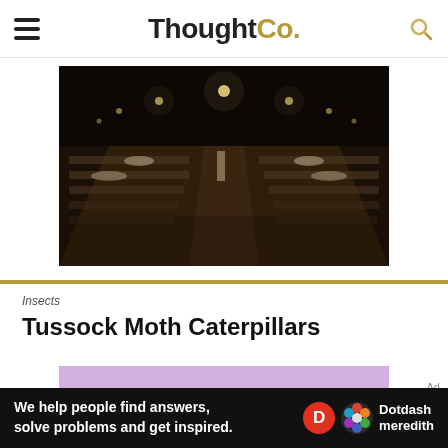ThoughtCo.
[Figure (photo): Historical black-and-white photograph of a large indoor space with rows of sick patients in beds, nurses attending them, with overhead lights illuminating the scene.]
Insects
Tussock Moth Caterpillars
[Figure (photo): Photo of a tussock moth caterpillar on blue flowers against a purple/pink background.]
Ad
We help people find answers, solve problems and get inspired.
[Figure (logo): Dotdash Meredith logo with red D circle and colorful flower circle]